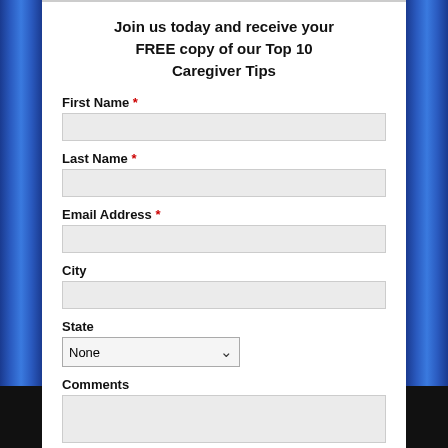Join us today and receive your FREE copy of our Top 10 Caregiver Tips
First Name *
Last Name *
Email Address *
City
State
Comments